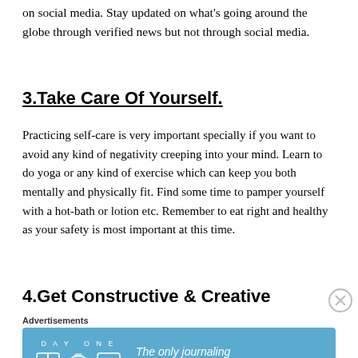on social media. Stay updated on what's going around the globe through verified news but not through social media.
3.Take Care Of Yourself.
Practicing self-care is very important specially if you want to avoid any kind of negativity creeping into your mind. Learn to do yoga or any kind of exercise which can keep you both mentally and physically fit. Find some time to pamper yourself with a hot-bath or lotion etc. Remember to eat right and healthy as your safety is most important at this time.
4.Get Constructive & Creative
Advertisements
[Figure (screenshot): DAY ONE journaling app advertisement banner with teal background, app icons, and text 'The only journaling app you'll ever need.']